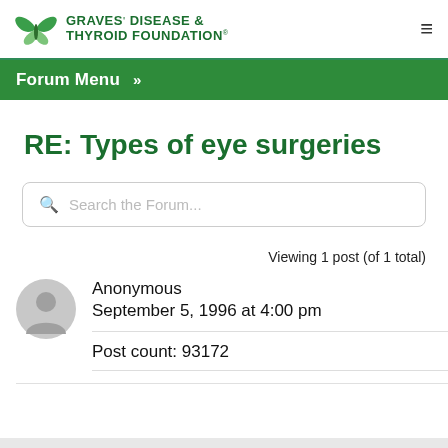[Figure (logo): Graves' Disease & Thyroid Foundation logo with butterfly graphic]
Forum Menu >>
RE: Types of eye surgeries
Search the Forum...
Viewing 1 post (of 1 total)
Anonymous
September 5, 1996 at 4:00 pm
Post count: 93172